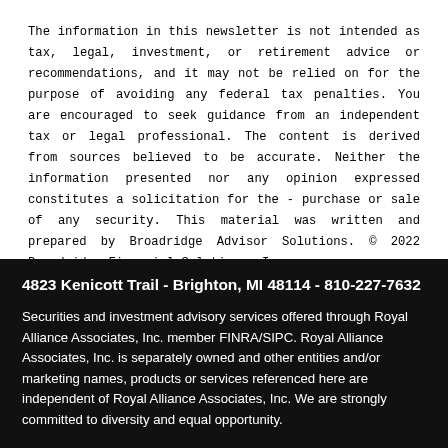The information in this newsletter is not intended as tax, legal, investment, or retirement advice or recommendations, and it may not be relied on for the purpose of avoiding any federal tax penalties. You are encouraged to seek guidance from an independent tax or legal professional. The content is derived from sources believed to be accurate. Neither the information presented nor any opinion expressed constitutes a solicitation for the purchase or sale of any security. This material was written and prepared by Broadridge Advisor Solutions. © 2022 Broadridge Financial Solutions, Inc.
4823 Kenicott Trail - Brighton, MI 48114 - 810-227-7632
Securities and investment advisory services offered through Royal Alliance Associates, Inc. member FINRA/SIPC. Royal Alliance Associates, Inc. is separately owned and other entities and/or marketing names, products or services referenced here are independent of Royal Alliance Associates, Inc. We are strongly committed to diversity and equal opportunity.